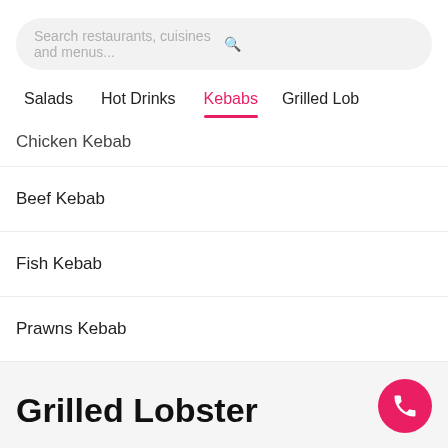Search restaurants, cuisines and menus...
Salads
Hot Drinks
Kebabs
Grilled Lob
Chicken Kebab
Beef Kebab
Fish Kebab
Prawns Kebab
Grilled Lobster